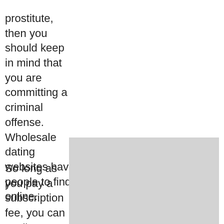prostitute, then you should keep in mind that you are committing a criminal offense. Wholesale dating websites have also developed that allow people to find Escort Service Back Com sex online.
So long as you pay a subscription fee, you can easily up with an escort site. In the past
[Figure (photo): A light grey rectangular image placeholder]